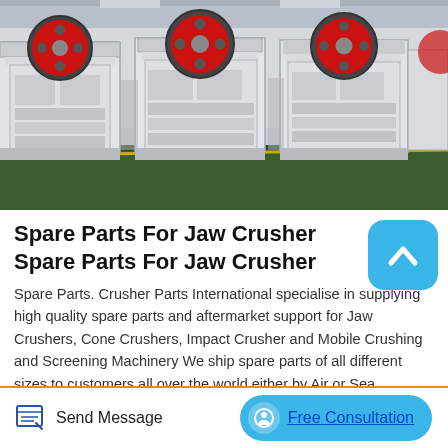[Figure (photo): Industrial jaw crusher machines lined up in a factory/warehouse setting. Large white rectangular bodies with red circular flywheels on top. Green painted concrete floor with yellow dividing line. Grey industrial ceiling visible in background.]
Spare Parts For Jaw Crusher Spare Parts For Jaw Crusher
Spare Parts. Crusher Parts International specialise in supplying high quality spare parts and aftermarket support for Jaw Crushers, Cone Crushers, Impact Crusher and Mobile Crushing and Screening Machinery We ship spare parts of all different sizes to customers all over the world either by Air or Sea depending on the urgency of the parts.International Crusher Solutions Ltd founded as Instant Crusher